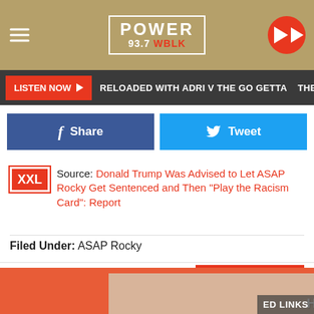Power 93.7 WBLK
LISTEN NOW ▶  RELOADED WITH ADRI V THE GO GETTA  THE GO
[Figure (other): Facebook Share button and Twitter Tweet button]
XXL Source: Donald Trump Was Advised to Let ASAP Rocky Get Sentenced and Then "Play the Racism Card": Report
Filed Under: ASAP Rocky
Comments
[Figure (other): Advertisement banner with Hold and Move text and two figures, with ED LINKS text on right]